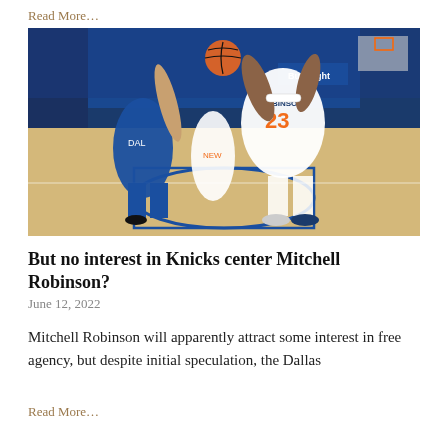Read More...
[Figure (photo): Basketball game action shot showing a New York Knicks player wearing number 23 (Mitchell Robinson) blocking or contesting a shot against a Dallas Mavericks player in a blue uniform. A third player is visible in the background. The arena is packed with spectators.]
But no interest in Knicks center Mitchell Robinson?
June 12, 2022
Mitchell Robinson will apparently attract some interest in free agency, but despite initial speculation, the Dallas
Read More...